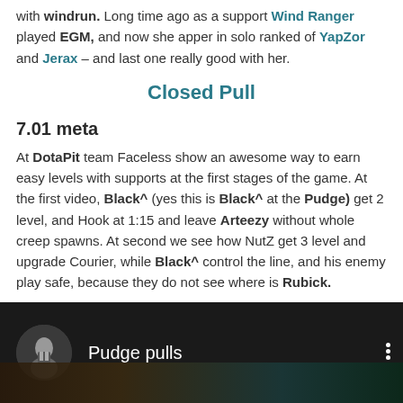with windrun. Long time ago as a support Wind Ranger played EGM, and now she apper in solo ranked of YapZor and Jerax – and last one really good with her.
Closed Pull
7.01 meta
At DotaPit team Faceless show an awesome way to earn easy levels with supports at the first stages of the game. At the first video, Black^ (yes this is Black^ at the Pudge) get 2 level, and Hook at 1:15 and leave Arteezy without whole creep spawns. At second we see how NutZ get 3 level and upgrade Courier, while Black^ control the line, and his enemy play safe, because they do not see where is Rubick.
[Figure (screenshot): Video thumbnail showing 'Pudge pulls' with a circular avatar of a character on a dark game background]